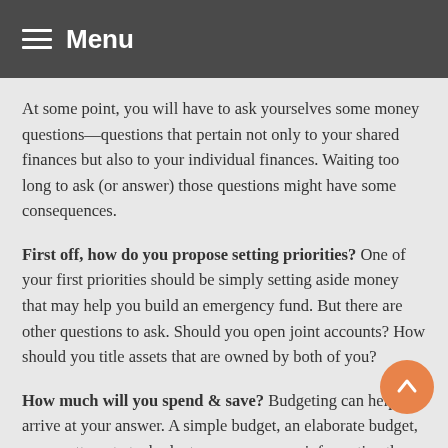Menu
At some point, you will have to ask yourselves some money questions—questions that pertain not only to your shared finances but also to your individual finances. Waiting too long to ask (or answer) those questions might have some consequences.
First off, how do you propose setting priorities? One of your first priorities should be simply setting aside money that may help you build an emergency fund. But there are other questions to ask. Should you open joint accounts? How should you title assets that are owned by both of you?
How much will you spend & save? Budgeting can help you arrive at your answer. A simple budget, an elaborate budget, or any attempt at a budget can prove more informative than you realize. A thorough, line-item budget may seem a little over the top, but what you learn from it may be truly